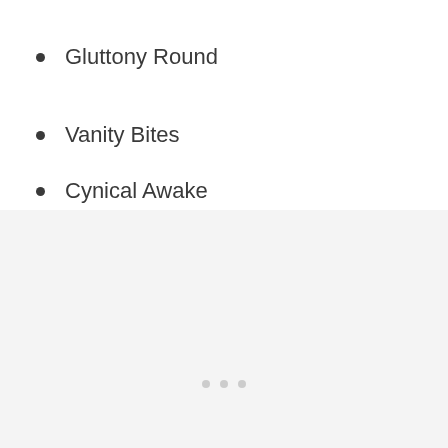Gluttony Round
Vanity Bites
Cynical Awake